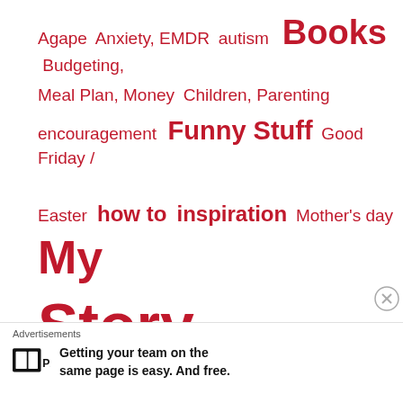[Figure (infographic): Tag cloud of blog categories in red text of varying sizes: Agape, Anxiety EMDR, autism, Books (large), Budgeting Meal Plan Money, Children Parenting, encouragement, Funny Stuff (large), Good Friday / Easter, how to, inspiration, Mother's day, My (large), Story (very large), pet adoption, Pet Blog, Pictures, Spotlight, Spotlight Nashville, Taxes, The Nashville Pet, The Nashville (very large)]
Advertisements
Getting your team on the same page is easy. And free.